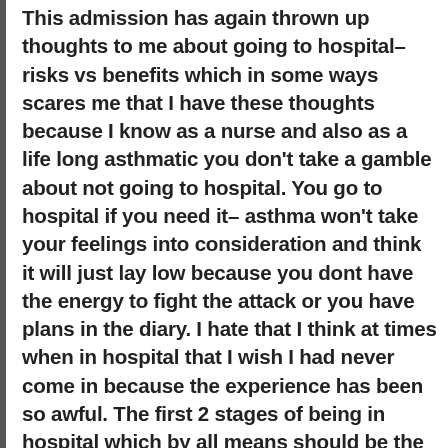This admission has again thrown up thoughts to me about going to hospital– risks vs benefits which in some ways scares me that I have these thoughts because I know as a nurse and also as a life long asthmatic you don't take a gamble about not going to hospital. You go to hospital if you need it– asthma won't take your feelings into consideration and think it will just lay low because you dont have the energy to fight the attack or you have plans in the diary. I hate that I think at times when in hospital that I wish I had never come in because the experience has been so awful. The first 2 stages of being in hospital which by all means should be the worse (in resus and critical care) are actually the easier to deal with despite the stabs with needles, the fight for breathe, the fear, the inability to do anything for yourself compared with when on a ward and you can breathe a little easier, don't get